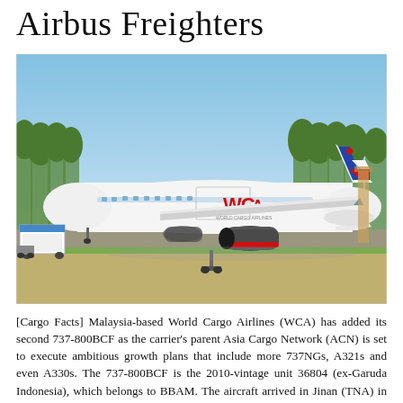Airbus Freighters
[Figure (photo): A World Cargo Airlines (WCA) Boeing 737-800BCF freighter aircraft parked on an airport ramp in Jinan, China. The white aircraft features red WCA branding and a blue and red tail livery. Ground support equipment is visible to the left, and trees and other aircraft are visible in the background under a blue sky.]
[Cargo Facts] Malaysia-based World Cargo Airlines (WCA) has added its second 737-800BCF as the carrier's parent Asia Cargo Network (ACN) is set to execute ambitious growth plans that include more 737NGs, A321s and even A330s. The 737-800BCF is the 2010-vintage unit 36804 (ex-Garuda Indonesia), which belongs to BBAM. The aircraft arrived in Jinan (TNA) in […]